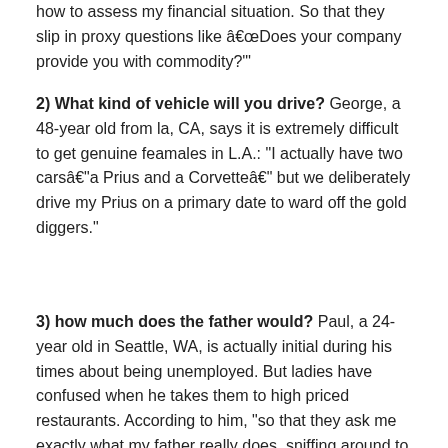how to assess my financial situation. So that they slip in proxy questions like “Does your company provide you with commodity?’"
2) What kind of vehicle will you drive? George, a 48-year old from la, CA, says it is extremely difficult to get genuine feamales in L.A.: “I actually have two cars—a Prius and a Corvette— but we deliberately drive my Prius on a primary date to ward off the gold diggers.”
3) how much does the father would? Paul, a 24-year old in Seattle, WA, is actually initial during his times about being unemployed. But ladies have confused when he takes them to high priced restaurants. According to him, “so that they ask me exactly what my father really does, sniffing around to see whether i would have a trust fund.”